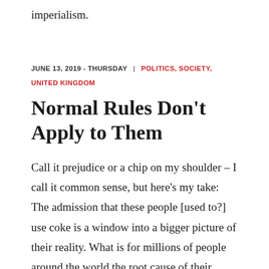imperialism.
JUNE 13, 2019 - THURSDAY | POLITICS, SOCIETY, UNITED KINGDOM
Normal Rules Don't Apply to Them
Call it prejudice or a chip on my shoulder – I call it common sense, but here's my take: The admission that these people [used to?] use coke is a window into a bigger picture of their reality. What is for millions of people around the world the root cause of their suffering is to these